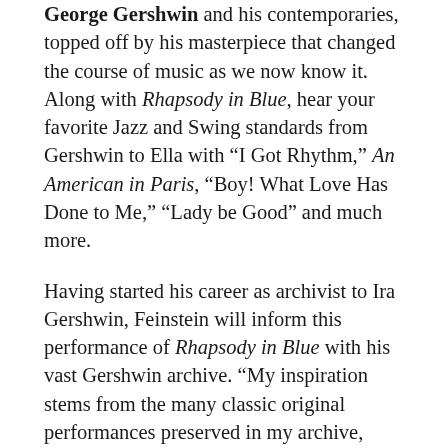George Gershwin and his contemporaries, topped off by his masterpiece that changed the course of music as we now know it. Along with Rhapsody in Blue, hear your favorite Jazz and Swing standards from Gershwin to Ella with "I Got Rhythm," An American in Paris, "Boy! What Love Has Done to Me," "Lady be Good" and much more.
Having started his career as archivist to Ira Gershwin, Feinstein will inform this performance of Rhapsody in Blue with his vast Gershwin archive. "My inspiration stems from the many classic original performances preserved in my archive, from Paul Whiteman to my friend Johnny Green, a close friend of Gershwin's who played Rhapsody in Blue so many times. Johnny gave me tips about how the composer wanted it interpreted and the...